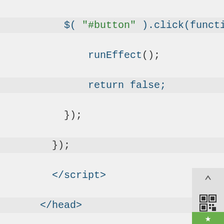[Figure (screenshot): Code editor screenshot showing HTML/JavaScript code snippet with syntax highlighting. Lines include jQuery click handler with runEffect() and return false, closing script and head tags, body tag, div with class toggler, nested div with id effect and ui-widget classes, h3 with ui-widget-header class, paragraph with Lorem ipsum text, closing tags, select element with name effects and id effectTypes, and option elements for blind, bounce, and clip effects.]